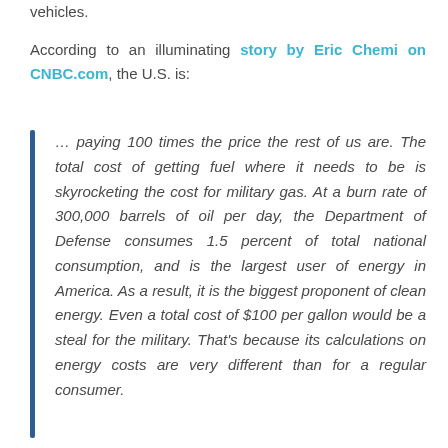vehicles.
According to an illuminating story by Eric Chemi on CNBC.com, the U.S. is:
… paying 100 times the price the rest of us are. The total cost of getting fuel where it needs to be is skyrocketing the cost for military gas. At a burn rate of 300,000 barrels of oil per day, the Department of Defense consumes 1.5 percent of total national consumption, and is the largest user of energy in America. As a result, it is the biggest proponent of clean energy. Even a total cost of $100 per gallon would be a steal for the military. That's because its calculations on energy costs are very different than for a regular consumer.